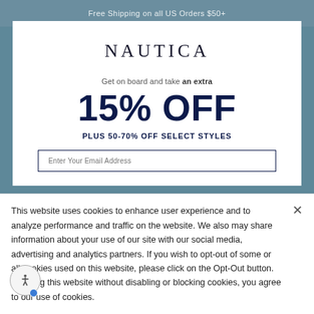Free Shipping on all US Orders $50+
NAUTICA
Get on board and take an extra
15% OFF
PLUS 50-70% OFF SELECT STYLES
Enter Your Email Address
This website uses cookies to enhance user experience and to analyze performance and traffic on the website. We also may share information about your use of our site with our social media, advertising and analytics partners. If you wish to opt-out of some or all cookies used on this website, please click on the Opt-Out button. By using this website without disabling or blocking cookies, you agree to our use of cookies.